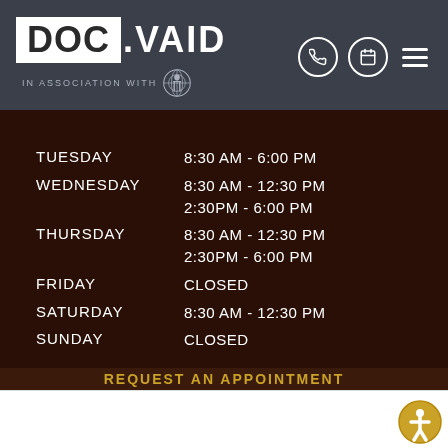DOC.VAID IN ASSOCIATION WITH
| Day | Hours |
| --- | --- |
| TUESDAY | 8:30 AM - 6:00 PM |
| WEDNESDAY | 8:30 AM - 12:30 PM
2:30PM - 6:00 PM |
| THURSDAY | 8:30 AM - 12:30 PM
2:30PM - 6:00 PM |
| FRIDAY | CLOSED |
| SATURDAY | 8:30 AM - 12:30 PM |
| SUNDAY | CLOSED |
REQUEST AN APPOINTMENT
Full Name